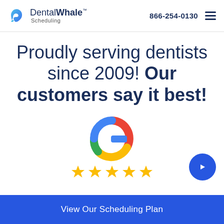DentalWhale Scheduling | 866-254-0130
Proudly serving dentists since 2009! Our customers say it best!
[Figure (logo): Google logo (colorful G) with 5 gold stars beneath it, and a blue circular arrow button to the right]
View Our Scheduling Plan